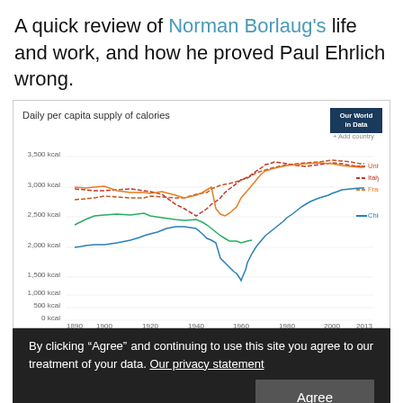A quick review of Norman Borlaug's life and work, and how he proved Paul Ehrlich wrong.
[Figure (line-chart): Line chart showing daily per capita supply of calories from 1890 to 2013 for United States, Italy, France, and China. US, Italy, France lines hover around 3000-3500 kcal. China starts around 2100 kcal in 1890, dips sharply around 1960 to ~1450, then rises steadily to ~3100 kcal by 2013.]
By clicking “Agree” and continuing to use this site you agree to our treatment of your data. Our privacy statement
increasingly efficient way.